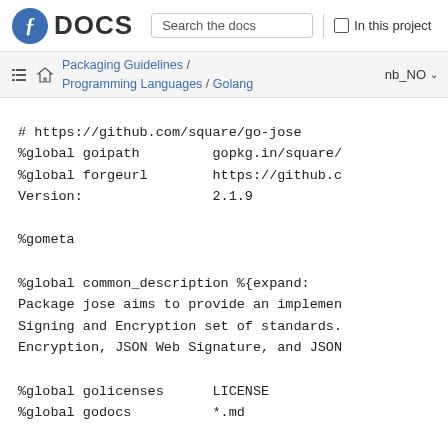Fedora DOCS | Search the docs | In this project
Packaging Guidelines / Programming Languages / Golang | nb_NO
# https://github.com/square/go-jose
%global goipath         gopkg.in/square/
%global forgeurl        https://github.c
Version:                2.1.9

%gometa

%global common_description %{expand:
Package jose aims to provide an implemen
Signing and Encryption set of standards.
Encryption, JSON Web Signature, and JSON

%global golicenses      LICENSE
%global godocs          *.md